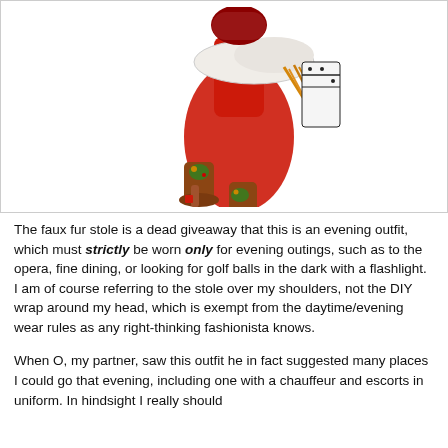[Figure (photo): A person wearing a vibrant red outfit with ornate cowboy boots, a faux fur stole over the shoulders, colorful fringe accessories, and a patterned wrap around the head, photographed against a white background.]
The faux fur stole is a dead giveaway that this is an evening outfit, which must strictly be worn only for evening outings, such as to the opera, fine dining, or looking for golf balls in the dark with a flashlight. I am of course referring to the stole over my shoulders, not the DIY wrap around my head, which is exempt from the daytime/evening wear rules as any right-thinking fashionista knows.
When O, my partner, saw this outfit he in fact suggested many places I could go that evening, including one with a chauffeur and escorts in uniform. In hindsight I really should